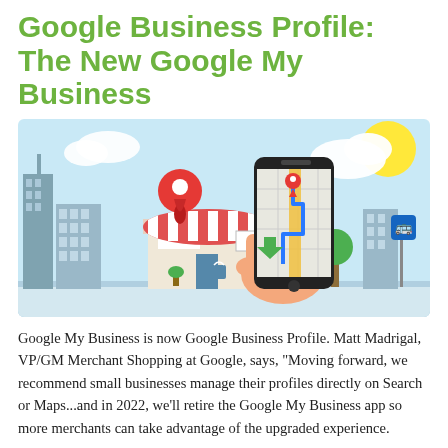Google Business Profile: The New Google My Business
[Figure (illustration): Colorful flat-style illustration of a city street scene with a smartphone displaying a map with a navigation pin, a storefront with a red-and-white striped awning, a large red map pin, buildings, trees, a bus stop sign, a sun, and clouds.]
Google My Business is now Google Business Profile. Matt Madrigal, VP/GM Merchant Shopping at Google, says, "Moving forward, we recommend small businesses manage their profiles directly on Search or Maps...and in 2022, we'll retire the Google My Business app so more merchants can take advantage of the upgraded experience.